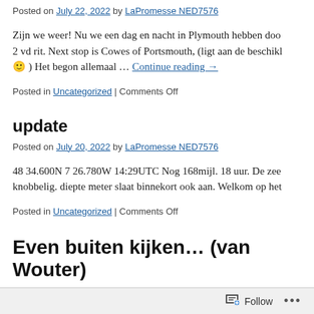Posted on July 22, 2022 by LaPromesse NED7576
Zijn we weer! Nu we een dag en nacht in Plymouth hebben doo... 2 vd rit. Next stop is Cowes of Portsmouth, (ligt aan de beschik... 🙂 ) Het begon allemaal … Continue reading →
Posted in Uncategorized | Comments Off
update
Posted on July 20, 2022 by LaPromesse NED7576
48 34.600N 7 26.780W 14:29UTC Nog 168mijl. 18 uur. De zee... knobbelig. diepte meter slaat binnekort ook aan. Welkom op het...
Posted in Uncategorized | Comments Off
Even buiten kijken… (van Wouter)